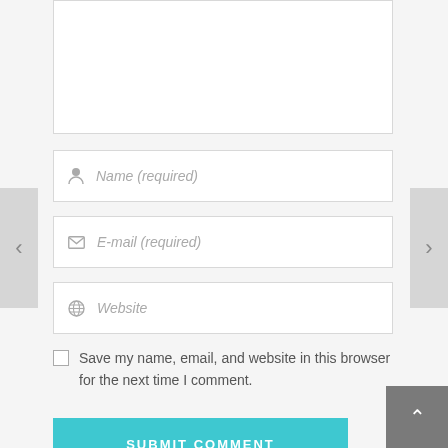[Figure (screenshot): Partial textarea input box at the top of the page (cropped, showing only the bottom portion)]
Name (required)
E-mail (required)
Website
Save my name, email, and website in this browser for the next time I comment.
SUBMIT COMMENT